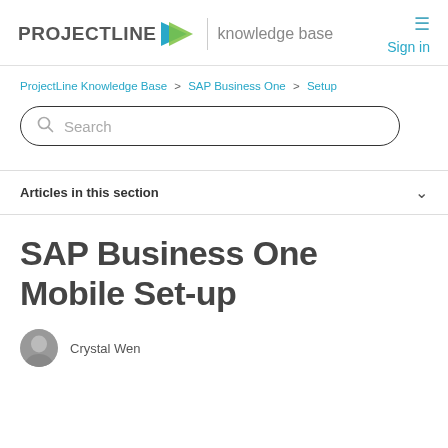PROJECTLINE knowledge base | Sign in
ProjectLine Knowledge Base > SAP Business One > Setup
[Figure (screenshot): Search input box with magnifying glass icon and placeholder text 'Search']
Articles in this section
SAP Business One Mobile Set-up
Crystal Wen